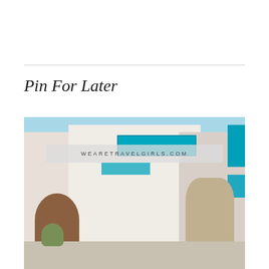Pin For Later
[Figure (photo): A narrow white-washed street in what appears to be Mykonos, Greece, with bright teal/cyan balconies and shutters on white buildings. A woman is seated at the bottom center. Potted plants and flowers visible. A watermark banner reads WEARETRAVELGIRLS.COM overlaid on the upper portion of the photo.]